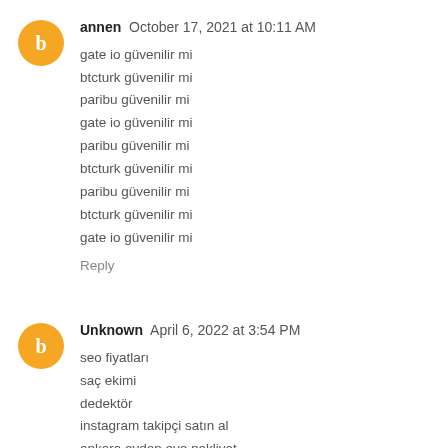[Figure (illustration): Orange circular blogger avatar icon with white 'b' letter]
annen October 17, 2021 at 10:11 AM
gate io güvenilir mi
btcturk güvenilir mi
paribu güvenilir mi
gate io güvenilir mi
paribu güvenilir mi
btcturk güvenilir mi
paribu güvenilir mi
btcturk güvenilir mi
gate io güvenilir mi
Reply
[Figure (illustration): Orange circular blogger avatar icon with white 'b' letter]
Unknown April 6, 2022 at 3:54 PM
seo fiyatları
saç ekimi
dedektör
instagram takipçi satın al
ankara evden eve nakliyat
fantezi iç giyim